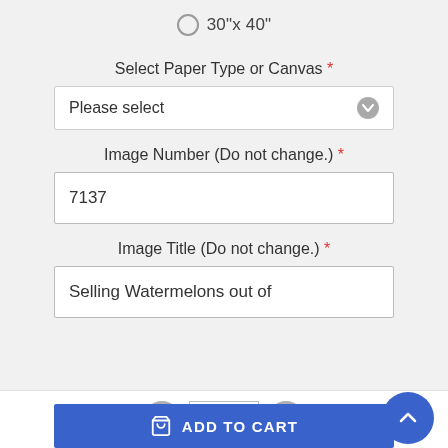30"x 40"
Select Paper Type or Canvas *
Please select
Image Number (Do not change.) *
7137
Image Title (Do not change.) *
Selling Watermelons out of
1
ADD TO CART